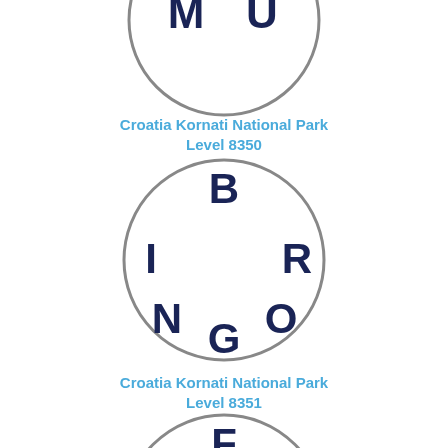[Figure (illustration): Circle with letters M, U, M, U arranged around the edge (partially cropped at top)]
Croatia Kornati National Park
Level 8350
[Figure (illustration): Circle with letters B, R, O, G, N, I arranged around the edge spelling BRINGO/BINGO variant]
Croatia Kornati National Park
Level 8351
[Figure (illustration): Circle with letters F, O, H, E, R arranged around the edge (partially cropped at bottom)]